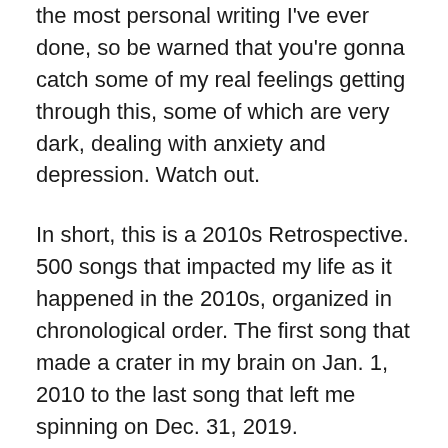the most personal writing I've ever done, so be warned that you're gonna catch some of my real feelings getting through this, some of which are very dark, dealing with anxiety and depression. Watch out.
In short, this is a 2010s Retrospective. 500 songs that impacted my life as it happened in the 2010s, organized in chronological order. The first song that made a crater in my brain on Jan. 1, 2010 to the last song that left me spinning on Dec. 31, 2019.
Since 2014, I've accumulated playlists of songs throughout the year that made an impact on me. I then publish them at the top of the following year and include listening statistics and all that stuff. Real nerd things. The reason I do this is for one I'm obsessed with cataloging everything I do, and for two it's fun to look back and